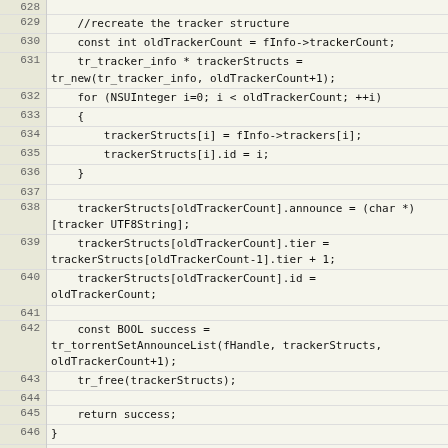Source code listing lines 628-653 (partial), showing Objective-C code for tracker management including recreating tracker structures and removeTrackersWithIdentifiers method.